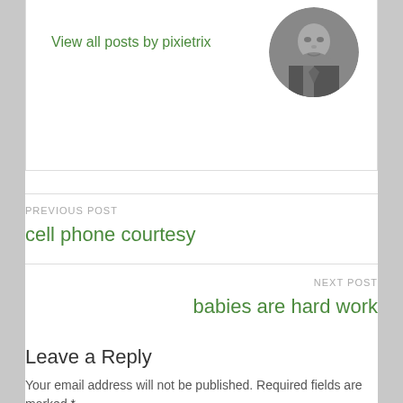View all posts by pixietrix
[Figure (photo): Circular avatar photo of an older man in a suit, black and white photograph]
PREVIOUS POST
cell phone courtesy
NEXT POST
babies are hard work
Leave a Reply
Your email address will not be published. Required fields are marked *